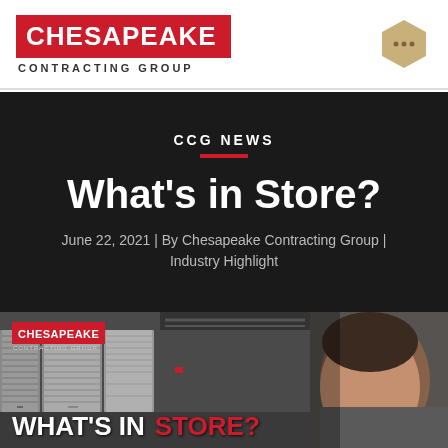[Figure (logo): Chesapeake Contracting Group logo — red box with white CHESAPEAKE text, subtitle CONTRACTING GROUP]
[Figure (logo): Hexagonal icon with three dots in tan/beige color]
CCG NEWS
What’s in Store?
June 22, 2021 | By Chesapeake Contracting Group | Industry Highlight
[Figure (photo): Photo of a self-storage facility interior showing corrugated metal roll-up doors along a corridor, with a man smiling in the foreground (right side). Small Chesapeake Contracting Group logo overlaid top-left. Text overlay at bottom reads WHAT’S IN STORE? in white and red.]